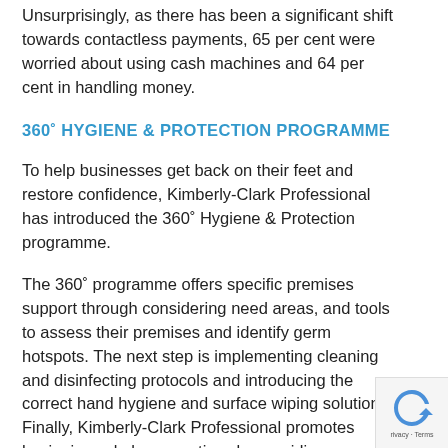Unsurprisingly, as there has been a significant shift towards contactless payments, 65 per cent were worried about using cash machines and 64 per cent in handling money.
360° HYGIENE & PROTECTION PROGRAMME
To help businesses get back on their feet and restore confidence, Kimberly-Clark Professional has introduced the 360° Hygiene & Protection programme.
The 360° programme offers specific premises support through considering need areas, and tools to assess their premises and identify germ hotspots. The next step is implementing cleaning and disinfecting protocols and introducing the correct hand hygiene and surface wiping solutions. Finally, Kimberly-Clark Professional promotes hygienic workplace practices by providing communication tools to help create awareness, which is a vital and important part of making people feel safe. An in-depth workplace guide is available for each sector advising the most appropriate products and